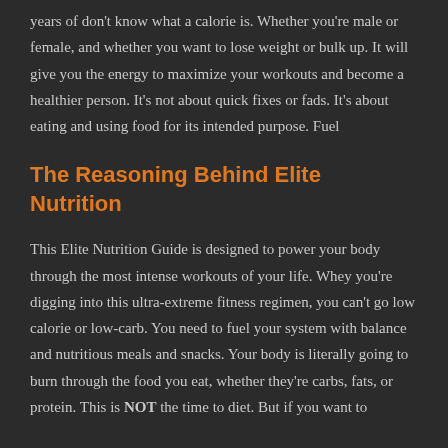years of don't know what a calorie is. Whether you're male or female, and whether you want to lose weight or bulk up. It will give you the energy to maximize your workouts and become a healthier person. It's not about quick fixes or fads. It's about eating and using food for its intended purpose. Fuel
The Reasoning Behind Elite Nutrition
This Elite Nutrition Guide is designed to power your body through the most intense workouts of your life. Whey you're digging into this ultra-extreme fitness regimen, you can't go low calorie or low-carb. You need to fuel your system with balance and nutritious meals and snacks. Your body is literally going to burn through the food you eat, whether they're carbs, fats, or protein. This is NOT the time to diet. But if you want to